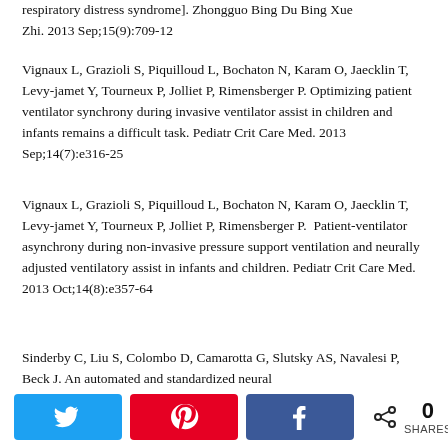respiratory distress syndrome]. Zhongguo Bing Du Bing Xue Zhi. 2013 Sep;15(9):709-12
Vignaux L, Grazioli S, Piquilloud L, Bochaton N, Karam O, Jaecklin T, Levy-jamet Y, Tourneux P, Jolliet P, Rimensberger P. Optimizing patient ventilator synchrony during invasive ventilator assist in children and infants remains a difficult task. Pediatr Crit Care Med. 2013 Sep;14(7):e316-25
Vignaux L, Grazioli S, Piquilloud L, Bochaton N, Karam O, Jaecklin T, Levy-jamet Y, Tourneux P, Jolliet P, Rimensberger P. Patient-ventilator asynchrony during non-invasive pressure support ventilation and neurally adjusted ventilatory assist in infants and children. Pediatr Crit Care Med. 2013 Oct;14(8):e357-64
Sinderby C, Liu S, Colombo D, Camarotta G, Slutsky AS, Navalesi P, Beck J. An automated and standardized neural...